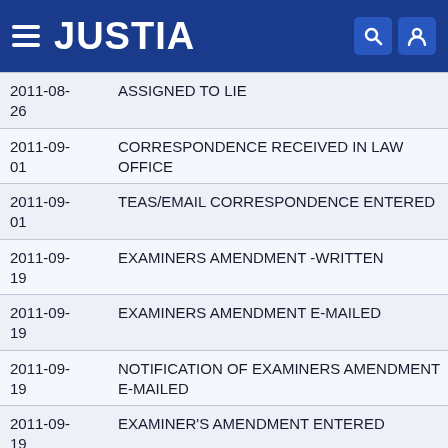JUSTIA
| Date | Event |
| --- | --- |
| 2011-08-26 | ASSIGNED TO LIE |
| 2011-09-01 | CORRESPONDENCE RECEIVED IN LAW OFFICE |
| 2011-09-01 | TEAS/EMAIL CORRESPONDENCE ENTERED |
| 2011-09-19 | EXAMINERS AMENDMENT -WRITTEN |
| 2011-09-19 | EXAMINERS AMENDMENT E-MAILED |
| 2011-09-19 | NOTIFICATION OF EXAMINERS AMENDMENT E-MAILED |
| 2011-09-19 | EXAMINER'S AMENDMENT ENTERED |